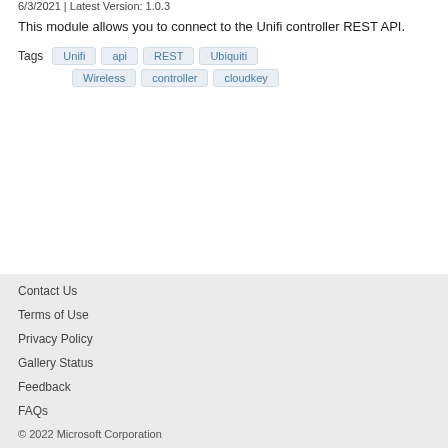6/3/2021 | Latest Version: 1.0.3
This module allows you to connect to the Unifi controller REST API.
Tags  Unifi  api  REST  Ubiquiti  Wireless  controller  cloudkey
Contact Us
Terms of Use
Privacy Policy
Gallery Status
Feedback
FAQs
© 2022 Microsoft Corporation